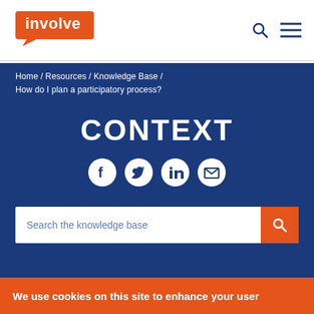[Figure (logo): Involve logo — white text on orange/red speech-bubble background]
Home / Resources / Knowledge Base / How do I plan a participatory process?
CONTEXT
[Figure (illustration): Social media share icons: Facebook, Twitter, LinkedIn, Email — white on blue circles]
Search the knowledge base
We use cookies on this site to enhance your user